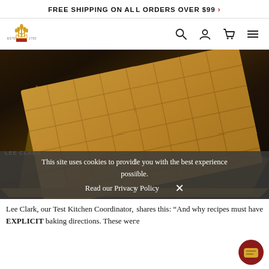FREE SHIPPING ON ALL ORDERS OVER $99 >
[Figure (logo): Brand logo with wheat/crown icon, ESTD 1750 text]
[Figure (photo): Overhead photo of a baking sheet filled with scored cracker dough in a grid pattern]
LEE CLARK
This site uses cookies to provide you with the best experience possible.
Read our Privacy Policy
Lee Clark, our Test Kitchen Coordinator, shares this: "And why recipes must have EXPLICIT baking directions. These were